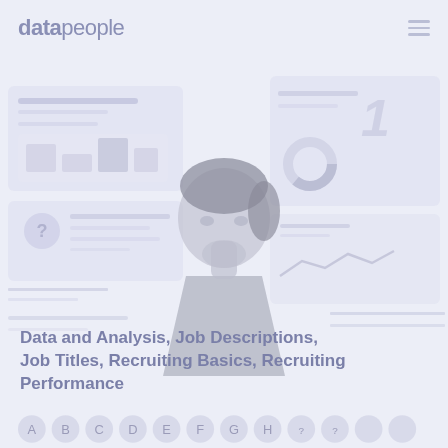datapeople
[Figure (illustration): A faded light periwinkle/lavender illustrated scene showing a person with dark hair in a thinking pose (hand on chin), surrounded by floating UI dashboard panels showing analytics, charts, and data interfaces. The illustration is rendered in muted blue-grey tones on a pale lavender background.]
Data and Analysis, Job Descriptions, Job Titles, Recruiting Basics, Recruiting Performance
[Figure (illustration): A row of small circular avatar icons at the bottom of the page, rendered in muted lavender tones.]